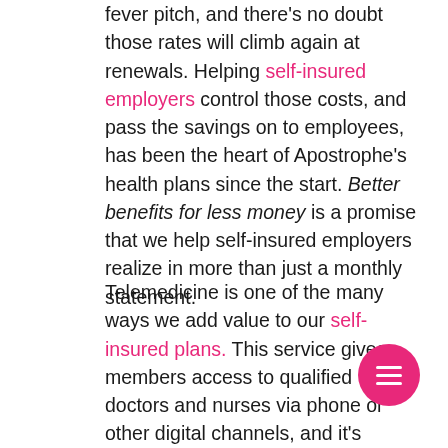fever pitch, and there's no doubt those rates will climb again at renewals. Helping self-insured employers control those costs, and pass the savings on to employees, has been the heart of Apostrophe's health plans since the start. Better benefits for less money is a promise that we help self-insured employers realize in more than just a monthly statement.
Telemedicine is one of the many ways we add value to our self-insured plans. This service gives members access to qualified doctors and nurses via phone or other digital channels, and it's always free* to our members on non-HSA plans. For Apostrophe members, it's as simple as a call to our telemedicine partner MeMD. Once connected, members can discuss symptoms and even share photos with the provider via a secure connection.